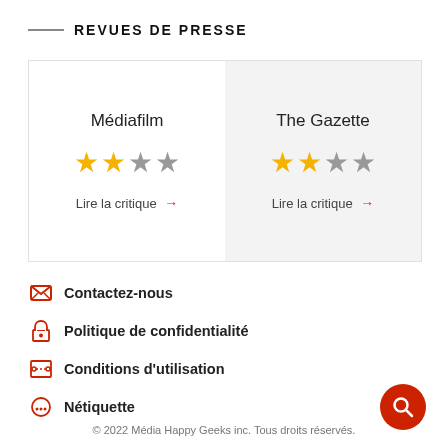REVUES DE PRESSE
| Médiafilm | The Gazette |
| --- | --- |
| ★★☆☆☆ (2/4) | ★★☆☆☆ (2/4) |
| Lire la critique → | Lire la critique → |
Contactez-nous
Politique de confidentialité
Conditions d'utilisation
Nétiquette
© 2022 Média Happy Geeks inc. Tous droits réservés.